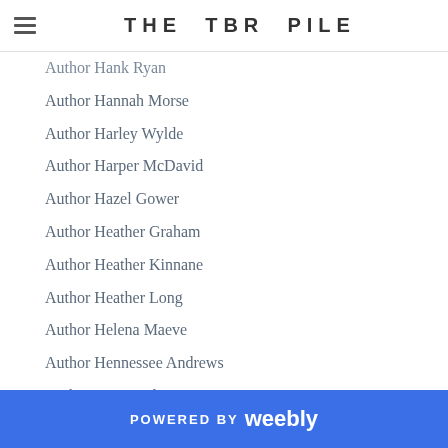THE TBR PILE
Author Hank Ryan
Author Hannah Morse
Author Harley Wylde
Author Harper McDavid
Author Hazel Gower
Author Heather Graham
Author Heather Kinnane
Author Heather Long
Author Helena Maeve
Author Hennessee Andrews
Author H.K. Carlton
Author HK Carlton
Author H.L. Day
Author H.L. Holston
Author Honey
Author Honor James
Author India Masters
Author Inger Wolf
POWERED BY weebly